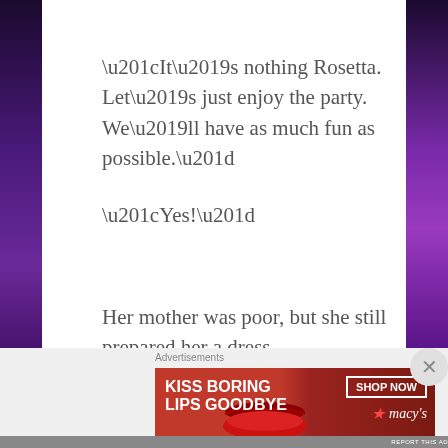“It’s nothing Rosetta. Let’s just enjoy the party. We’ll have as much fun as possible.”
“Yes!”
Her mother was poor, but she still prepared her a dress.
[Figure (other): Macy's advertisement banner: 'KISS BORING LIPS GOODBYE' with SHOP NOW button and Macy's star logo on red background with model's face]
Advertisements